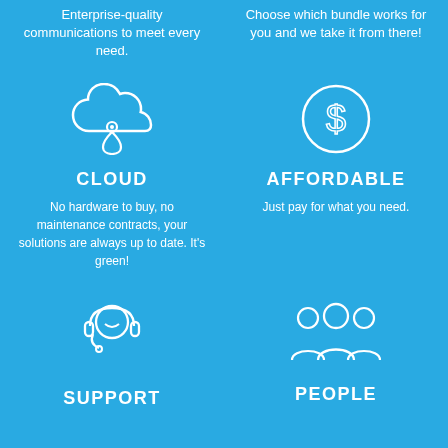Enterprise-quality communications to meet every need.
Choose which bundle works for you and we take it from there!
[Figure (illustration): Cloud with location pin icon, white outline on blue background]
[Figure (illustration): Dollar sign in circle icon, white outline on blue background]
CLOUD
AFFORDABLE
No hardware to buy, no maintenance contracts, your solutions are always up to date. It's green!
Just pay for what you need.
[Figure (illustration): Headset/support agent icon, white outline on blue background]
[Figure (illustration): Group of people/team icon, white outline on blue background]
SUPPORT
PEOPLE